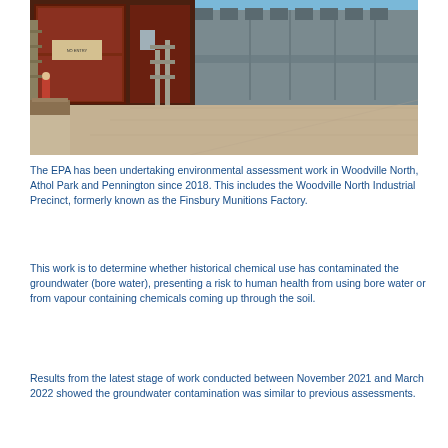[Figure (photo): Exterior photograph of an industrial building with large red corrugated metal doors and a row of grey/blue warehouse structures extending into the distance. A person is visible on the left side near construction materials, and equipment is staged in the foreground on a concrete apron. Clear blue sky in the background.]
The EPA has been undertaking environmental assessment work in Woodville North, Athol Park and Pennington since 2018. This includes the Woodville North Industrial Precinct, formerly known as the Finsbury Munitions Factory.
This work is to determine whether historical chemical use has contaminated the groundwater (bore water), presenting a risk to human health from using bore water or from vapour containing chemicals coming up through the soil.
Results from the latest stage of work conducted between November 2021 and March 2022 showed the groundwater contamination was similar to previous assessments.